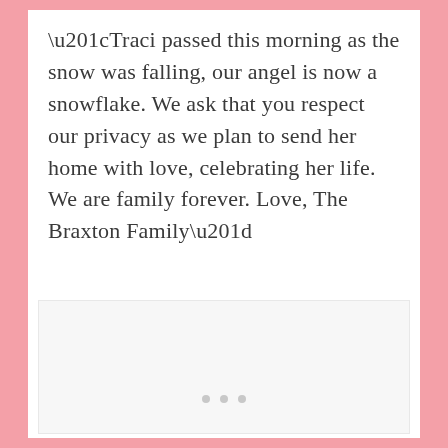“Traci passed this morning as the snow was falling, our angel is now a snowflake. We ask that you respect our privacy as we plan to send her home with love, celebrating her life. We are family forever. Love, The Braxton Family”
[Figure (other): White/light gray placeholder image area with three small gray dots near the bottom center, suggesting a loading or content placeholder]